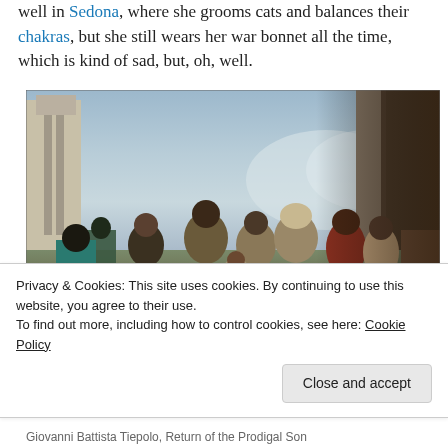well in Sedona, where she grooms cats and balances their chakras, but she still wears her war bonnet all the time, which is kind of sad, but, oh, well.
[Figure (photo): Painting by Giovanni Battista Tiepolo, Return of the Prodigal Son. Shows a crowd of figures in classical/biblical setting with architectural columns and open sky.]
Privacy & Cookies: This site uses cookies. By continuing to use this website, you agree to their use.
To find out more, including how to control cookies, see here: Cookie Policy
Giovanni Battista Tiepolo, Return of the Prodigal Son